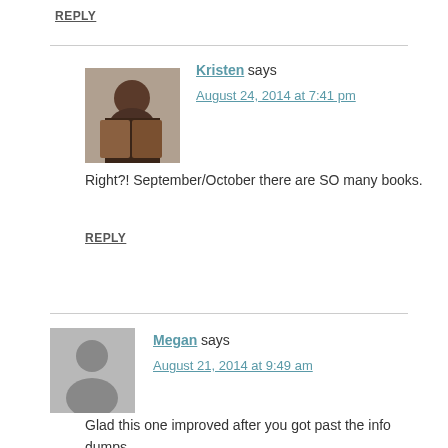REPLY
Kristen says
August 24, 2014 at 7:41 pm
Right?! September/October there are SO many books.
REPLY
Megan says
August 21, 2014 at 9:49 am
Glad this one improved after you got past the info dumps.